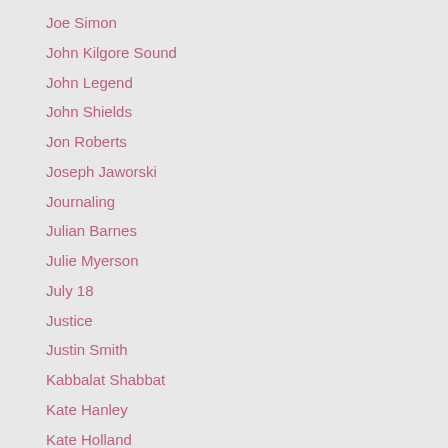Joe Simon
John Kilgore Sound
John Legend
John Shields
Jon Roberts
Joseph Jaworski
Journaling
Julian Barnes
Julie Myerson
July 18
Justice
Justin Smith
Kabbalat Shabbat
Kate Hanley
Kate Holland
Ken Deutsch
Ken Goldberg
Kenita Earl
Kennedy